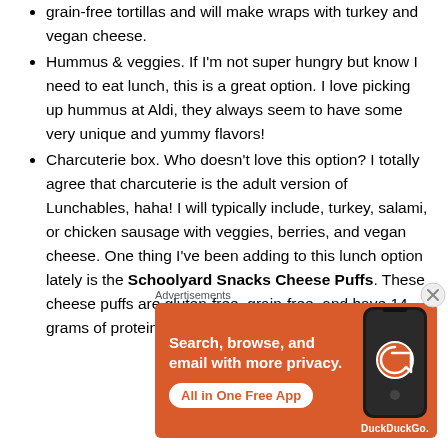grain-free tortillas and will make wraps with turkey and vegan cheese.
Hummus & veggies. If I'm not super hungry but know I need to eat lunch, this is a great option. I love picking up hummus at Aldi, they always seem to have some very unique and yummy flavors!
Charcuterie box. Who doesn't love this option? I totally agree that charcuterie is the adult version of Lunchables, haha! I will typically include, turkey, salami, or chicken sausage with veggies, berries, and vegan cheese. One thing I've been adding to this lunch option lately is the Schoolyard Snacks Cheese Puffs. These cheese puffs are gluten-free, grain-free, and have 14 grams of protein.
Advertisements
[Figure (screenshot): DuckDuckGo advertisement banner: orange background with phone image, text 'Search, browse, and email with more privacy.' and button 'All in One Free App']